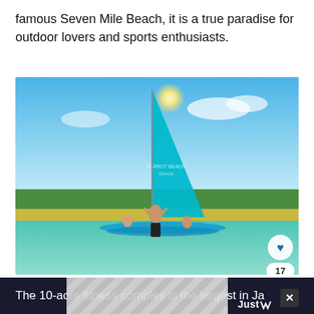famous Seven Mile Beach, it is a true paradise for outdoor lovers and sports enthusiasts.
[Figure (photo): Person jumping from a small catamaran sailboat with a teal/turquoise sail on clear turquoise water near a tropical beach with palm trees in the background. Blue sky with white clouds.]
The 10-acre fitness complex is the largest in Jamaica...